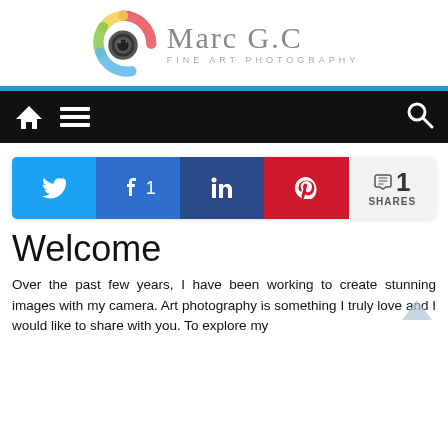[Figure (logo): Marc G.C Fine Art Photography logo with colorful spiral camera icon and grey serif text]
[Figure (screenshot): Black navigation bar with white home icon, hamburger menu icon, and search icon]
[Figure (infographic): Social share bar with Twitter, Facebook (1 share), LinkedIn, and Pinterest buttons, plus share count showing 1 SHARES]
Welcome
Over the past few years, I have been working to create stunning images with my camera. Art photography is something I truly love and I would like to share with you. To explore my